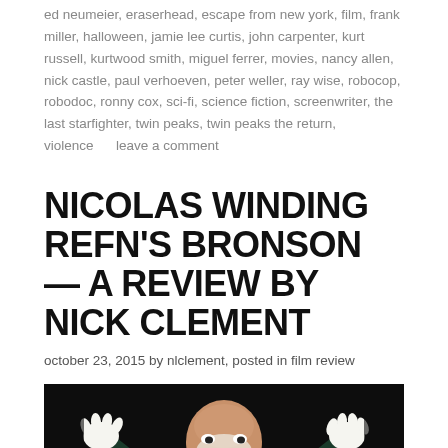ed neumeier, eraserhead, escape from new york, film, frank miller, halloween, jamie lee curtis, john carpenter, kurt russell, kurtwood smith, miguel ferrer, movies, nancy allen, nick castle, paul verhoeven, peter weller, ray wise, robocop, robodoc, ronny cox, sci-fi, science fiction, screenwriter, the last starfighter, twin peaks, twin peaks the return, violence     leave a comment
NICOLAS WINDING REFN'S BRONSON — A REVIEW BY NICK CLEMENT
october 23, 2015 by nlclement, posted in film review
[Figure (photo): Photo of a bald man in clown makeup wearing a dark jacket, arms raised with white gloved hands, against a dark background]